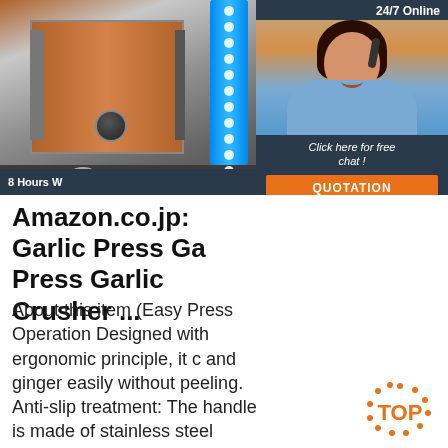[Figure (screenshot): Composite screenshot showing a food processing machine on the left with a blue LED strip, a circular engineering diagram top right showing heat/pressure layers, and a customer service chat overlay with a female agent wearing a headset, showing '8 Hours W...', '24/7 Online', 'Click here for free chat!', and 'QUOTATION' button.]
Amazon.co.jp: Garlic Press Ga Press Garlic Crusher ...
About this item (Easy Press Operation Designed with ergonomic principle, it c and ginger easily without peeling. Anti-slip treatment: The handle is made of stainless steel material, lightweight, sturdy, and very easy to use.